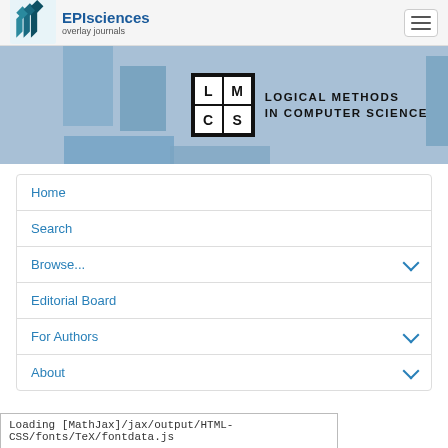[Figure (logo): EPIsciences overlay journals logo with teal angular icon and blue text, plus hamburger menu button]
[Figure (logo): LMCS - Logical Methods in Computer Science logo with geometric grid icon and bold uppercase text on blue banner]
Home
Search
Browse...
Editorial Board
For Authors
About
This site uses cookies and collects personal data  Learn more
Close
Loading [MathJax]/jax/output/HTML-CSS/fonts/TeX/fontdata.js